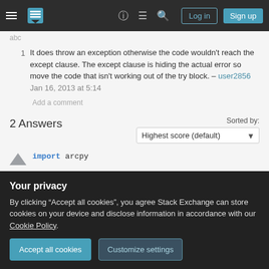Stack Exchange navigation header with hamburger menu, logo, help, chat, search icons, Log in and Sign up buttons
1  It does throw an exception otherwise the code wouldn't reach the except clause. The except clause is hiding the actual error so move the code that isn't working out of the try block. – user2856 Jan 16, 2013 at 5:14
Add a comment
2 Answers
Sorted by: Highest score (default)
import arcpy
Your privacy
By clicking "Accept all cookies", you agree Stack Exchange can store cookies on your device and disclose information in accordance with our Cookie Policy.
Accept all cookies   Customize settings
self.canRunInBackground = False